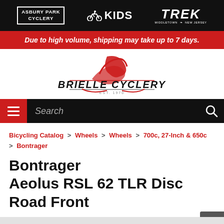Asbury Park Cyclery | Kids | Trek Middletown New Jersey
Due to high volume, shipping may take up to 7 days.
[Figure (logo): Brielle Cyclery logo with red swoosh cyclist graphic and EST. 1970 text]
Search
Bicycling Catalog > Wheels > Wheels > 700c, 27-Inch & 650c > Bontrager
Bontrager Aeolus RSL 62 TLR Disc Road Front
No Reviews  Write the First Review